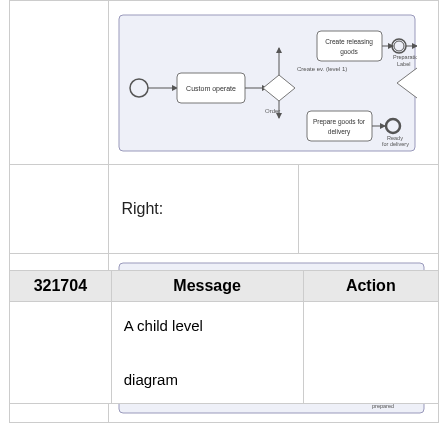[Figure (flowchart): BPMN-style process diagram showing a workflow with activities: Custom operate, Create releasing goods, Prepare goods for delivery, with decision gateway and events.]
|  | Right: |  |
| --- | --- | --- |
|  |  |  |
[Figure (flowchart): BPMN-style process diagram titled 'Prepare for delivery' showing child-level workflow with activities: Custom operate, Create releasing goods, Prepare goods for delivery, with decision gateway, boundary events and end events.]
| 321704 | Message | Action |
| --- | --- | --- |
|  | A child level

diagram |  |